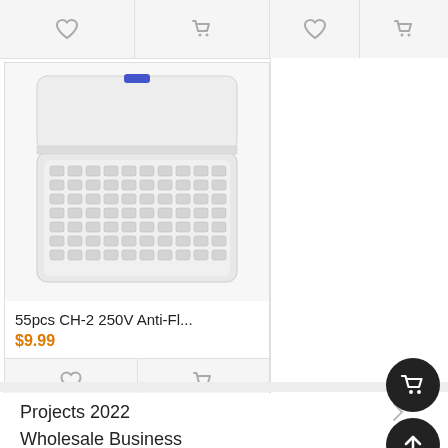[Figure (screenshot): Top navigation bar with heart (wishlist) and cart icons on left and right panels]
[Figure (photo): Product image: plastic storage box containing 55pcs CH-2 250V Anti-Fl... wire connectors, open lid showing rows of small white connectors]
55pcs CH-2 250V Anti-Fl...
$9.99
[Figure (screenshot): Product card bottom action bar with heart/wishlist and cart icons]
[Figure (screenshot): Floating dark cart button (circle) bottom right]
[Figure (screenshot): Floating dark up-arrow button (circle) bottom right]
Projects 2022
Wholesale Business
ICStation Brand